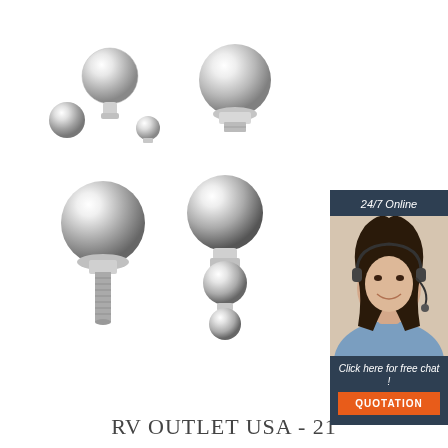[Figure (photo): Four chrome/stainless steel trailer hitch balls in various sizes shown on white background, product catalog style images]
[Figure (photo): Advertisement sidebar showing a female customer service agent wearing a headset, smiling, with dark blue background. Text: '24/7 Online', 'Click here for free chat!', and an orange button labeled 'QUOTATION']
RV OUTLET USA - 21